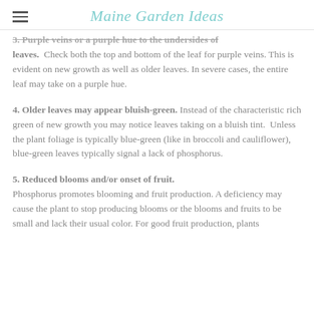Maine Garden Ideas
3. Purple veins or a purple hue to the undersides of leaves. Check both the top and bottom of the leaf for purple veins. This is evident on new growth as well as older leaves. In severe cases, the entire leaf may take on a purple hue.
4. Older leaves may appear bluish-green. Instead of the characteristic rich green of new growth you may notice leaves taking on a bluish tint. Unless the plant foliage is typically blue-green (like in broccoli and cauliflower), blue-green leaves typically signal a lack of phosphorus.
5. Reduced blooms and/or onset of fruit. Phosphorus promotes blooming and fruit production. A deficiency may cause the plant to stop producing blooms or the blooms and fruits to be small and lack their usual color. For good fruit production, plants